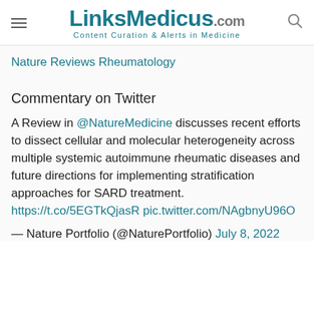LinksMedicus.com — Content Curation & Alerts in Medicine
Nature Reviews Rheumatology
Commentary on Twitter
A Review in @NatureMedicine discusses recent efforts to dissect cellular and molecular heterogeneity across multiple systemic autoimmune rheumatic diseases and future directions for implementing stratification approaches for SARD treatment. https://t.co/5EGTkQjasR pic.twitter.com/NAgbnyU96O
— Nature Portfolio (@NaturePortfolio) July 8, 2022